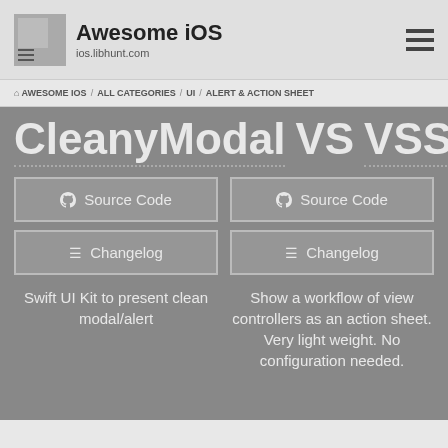Awesome iOS — ios.libhunt.com
AWESOME IOS / ALL CATEGORIES / UI / ALERT & ACTION SHEET
CleanyModal VS VSSheet
Source Code
Changelog
Source Code
Changelog
Swift UI Kit to present clean modal/alert
Show a workflow of view controllers as an action sheet. Very light weight. No configuration needed.